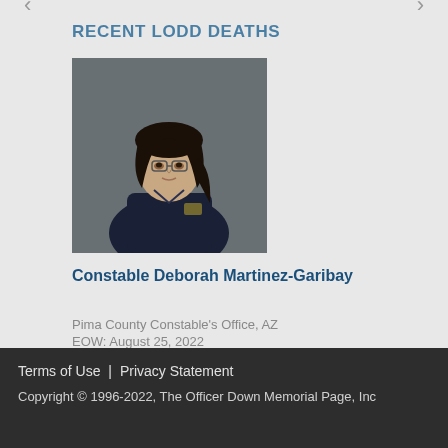RECENT LODD DEATHS
[Figure (photo): Headshot photo of Constable Deborah Martinez-Garibay wearing a dark navy polo shirt]
Constable Deborah Martinez-Garibay
Pima County Constable's Office, AZ
EOW: August 25, 2022
Terms of Use | Privacy Statement
Copyright © 1996-2022, The Officer Down Memorial Page, Inc